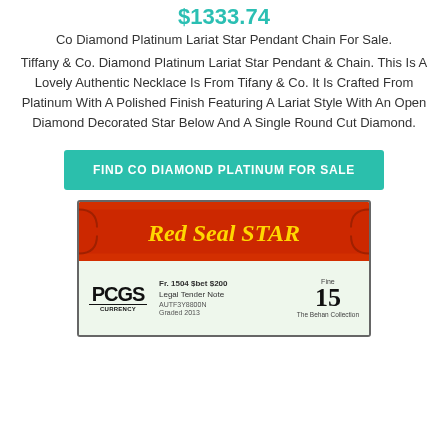$1333.74
Co Diamond Platinum Lariat Star Pendant Chain For Sale.
Tiffany & Co. Diamond Platinum Lariat Star Pendant & Chain. This Is A Lovely Authentic Necklace Is From Tifany & Co. It Is Crafted From Platinum With A Polished Finish Featuring A Lariat Style With An Open Diamond Decorated Star Below And A Single Round Cut Diamond.
FIND CO DIAMOND PLATINUM FOR SALE
[Figure (photo): PCGS Currency graded Red Seal STAR note, showing red and gold header with PCGS Currency logo on the left and grade 15 on the right.]